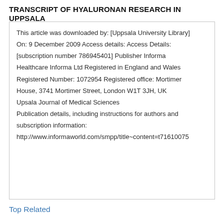TRANSCRIPT OF HYALURONAN RESEARCH IN UPPSALA
This article was downloaded by: [Uppsala University Library]
On: 9 December 2009 Access details: Access Details:
[subscription number 786945401] Publisher Informa
Healthcare Informa Ltd Registered in England and Wales
Registered Number: 1072954 Registered office: Mortimer
House, 3741 Mortimer Street, London W1T 3JH, UK
Upsala Journal of Medical Sciences
Publication details, including instructions for authors and
subscription information:
http://www.informaworld.com/smpp/title~content=t71610075
Top Related
Development and characterization of chi...
Documents